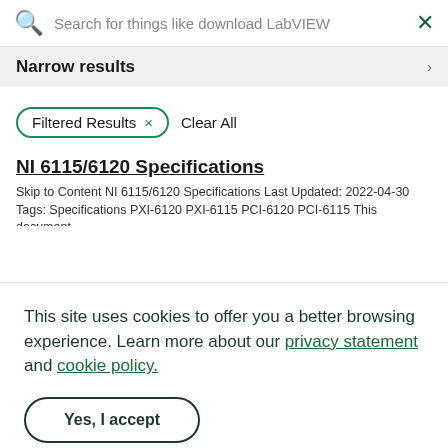Search for things like download LabVIEW
Narrow results
Filtered Results  ×   Clear All
NI 6115/6120 Specifications
Skip to Content NI 6115/6120 Specifications Last Updated: 2022-04-30 Tags: Specifications PXI-6120 PXI-6115 PCI-6120 PCI-6115 This document
This site uses cookies to offer you a better browsing experience. Learn more about our privacy statement and cookie policy.
Yes, I accept